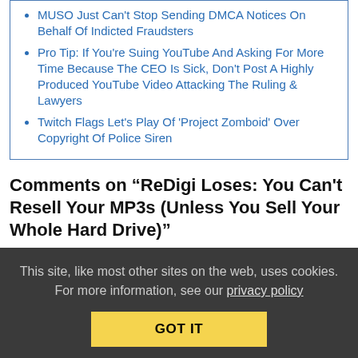MUSO Just Can't Stop Sending DMCA Notices On Behalf Of Indicted Fraudsters
Pro Tip: If You're Suing YouTube And Asking For More Time Because The CEO Is Sick, Don't Post A Highly Produced YouTube Video Attacking The Ruling & Lawyers
Twitch Flags Let's Play Of 'Project Zomboid' Over Copyright Of Police Siren
Comments on “ReDigi Loses: You Can't Resell Your MP3s (Unless You Sell Your Whole Hard Drive)”
This site, like most other sites on the web, uses cookies. For more information, see our privacy policy
GOT IT